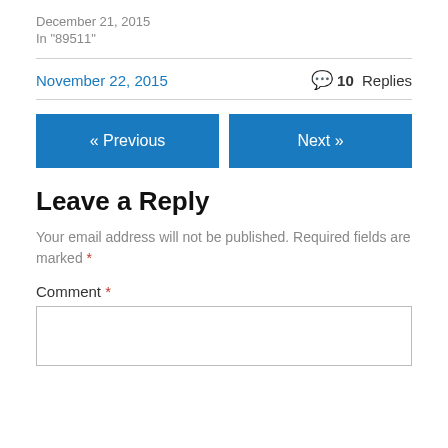December 21, 2015
In "89511"
November 22, 2015
10 Replies
« Previous
Next »
Leave a Reply
Your email address will not be published. Required fields are marked *
Comment *